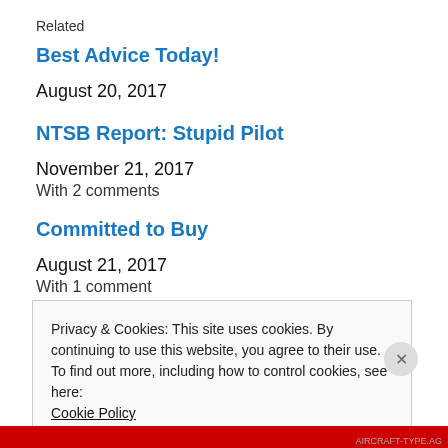Related
Best Advice Today!
August 20, 2017
NTSB Report: Stupid Pilot
November 21, 2017
With 2 comments
Committed to Buy
August 21, 2017
With 1 comment
Privacy & Cookies: This site uses cookies. By continuing to use this website, you agree to their use.
To find out more, including how to control cookies, see here: Cookie Policy
Close and accept